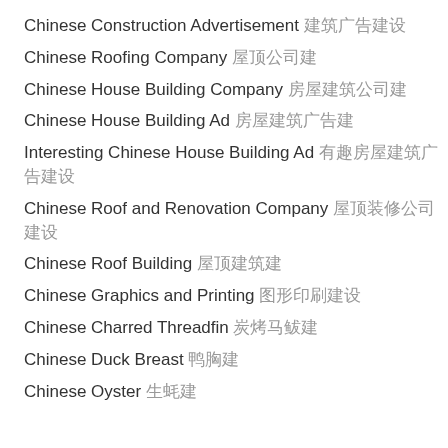Chinese Construction Advertisement 建筑广告
Chinese Roofing Company 屋顶公司
Chinese House Building Company 房屋建筑公司
Chinese House Building Ad 房屋建筑广告
Interesting Chinese House Building Ad 有趣的房屋建筑广告
Chinese Roof and Renovation Company 屋顶装修公司
Chinese Roof Building 屋顶建筑
Chinese Graphics and Printing 图形印刷
Chinese Charred Threadfin 炭烤马鲅
Chinese Duck Breast 鸭胸
Chinese Oyster 生蚝